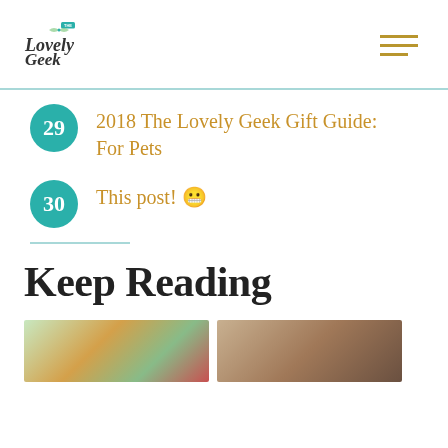The Lovely Geek
29 2018 The Lovely Geek Gift Guide: For Pets
30 This post! 😬
Keep Reading
[Figure (photo): Two thumbnail images below Keep Reading section: left shows holiday/floral scene, right shows a laptop/tablet device]